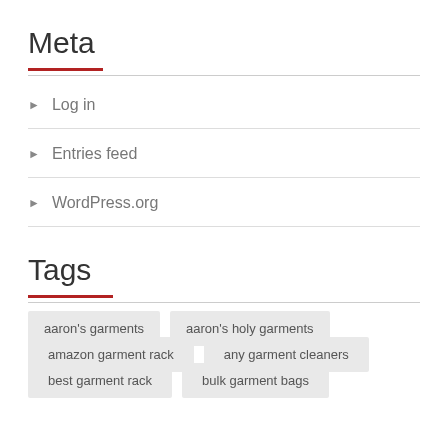Meta
Log in
Entries feed
WordPress.org
Tags
aaron's garments
aaron's holy garments
amazon garment rack
any garment cleaners
best garment rack
bulk garment bags